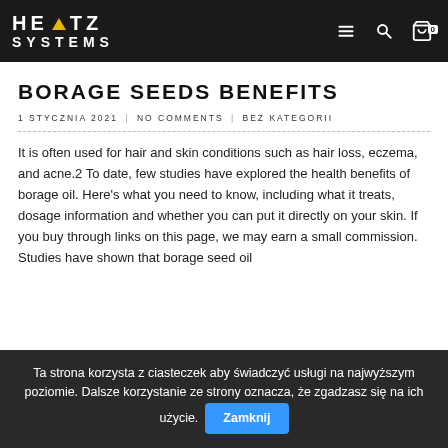HERTZ SYSTEMS
BORAGE SEEDS BENEFITS
1 STYCZNIA 2021 | NO COMMENTS | BEZ KATEGORII
It is often used for hair and skin conditions such as hair loss, eczema, and acne.2 To date, few studies have explored the health benefits of borage oil. Here's what you need to know, including what it treats, dosage information and whether you can put it directly on your skin. If you buy through links on this page, we may earn a small commission. Studies have shown that borage seed oil
Ta strona korzysta z ciasteczek aby świadczyć usługi na najwyższym poziomie. Dalsze korzystanie ze strony oznacza, że zgadzasz się na ich użycie. Zamknij